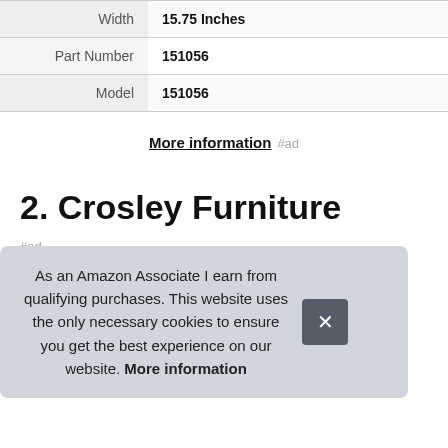| Width | 15.75 Inches |
| Part Number | 151056 |
| Model | 151056 |
More information #ad
2. Crosley Furniture
#ad
As an Amazon Associate I earn from qualifying purchases. This website uses the only necessary cookies to ensure you get the best experience on our website. More information